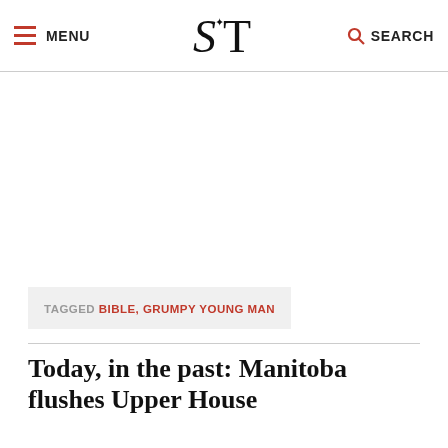MENU | S·T | SEARCH
TAGGED BIBLE, GRUMPY YOUNG MAN
Today, in the past: Manitoba flushes Upper House